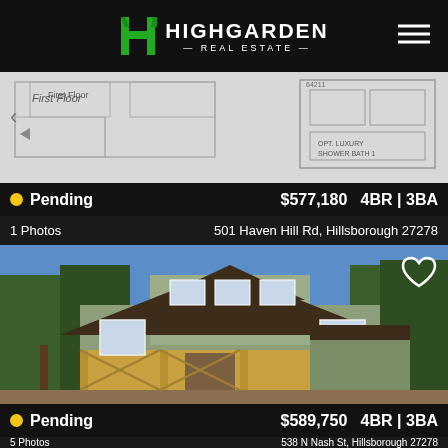[Figure (logo): Highgarden Real Estate logo with green H monogram and white text]
[Figure (photo): Floor plan image showing First Floor layout with OPT. LUXURY SHOWER BATH 1 label]
Pending   $577,180   4BR | 3BA
1 Photos   501 Haven Hill Rd, Hillsborough 27278
[Figure (photo): Under-construction home exterior photo, two-story with covered porch, surrounded by trees]
Pending   $589,750   4BR | 3BA
5 Photos   538 N Nash St, Hillsborough 27278
Call Agent
Message Agent
Schedule Tour
[Figure (photo): Partial view of third listing card with green/tree background]